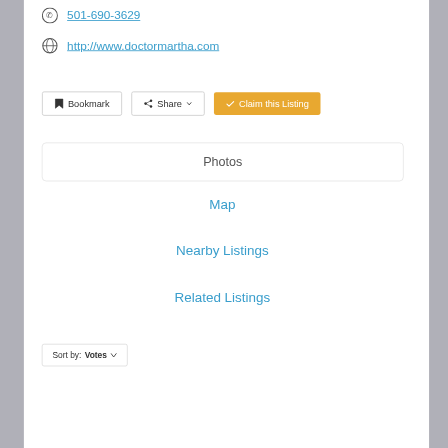501-690-3629
http://www.doctormartha.com
Bookmark  Share  Claim this Listing
Photos
Map
Nearby Listings
Related Listings
Sort by: Votes